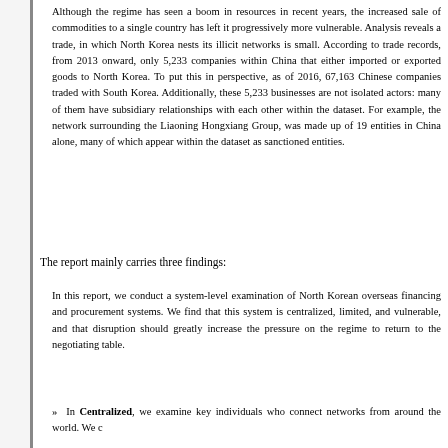Although the regime has seen a boom in resources in recent years, the increased sale of commodities to a single country has left it progressively more vulnerable. Analysis reveals a trade, in which North Korea nests its illicit networks is small. According to trade records, from 2013 onward, only 5,233 companies within China that either imported or exported goods to North Korea. To put this in perspective, as of 2016, 67,163 Chinese companies traded with South Korea. Additionally, these 5,233 businesses are not isolated actors: many of them have subsidiary relationships with each other within the dataset. For example, the network surrounding the Liaoning Hongxiang Group, was made up of 19 entities in China alone, many of which appear within the dataset as sanctioned entities.
The report mainly carries three findings:
In this report, we conduct a system-level examination of North Korean overseas financing and procurement systems. We find that this system is centralized, limited, and vulnerable, and that disruption should greatly increase the pressure on the regime to return to the negotiating table.
» In Centralized, we examine key individuals who connect networks from around the world. We c...